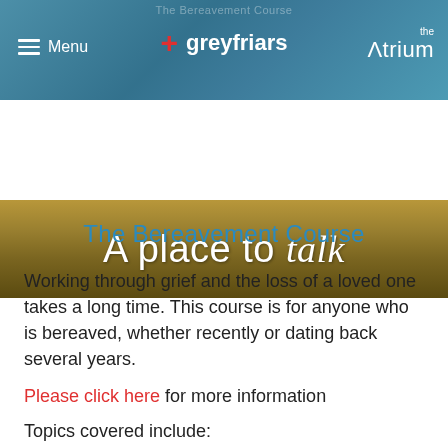Menu | + greyfriars | the Atrium
[Figure (photo): Banner image with text 'A place to talk' over a golden/brown bokeh background]
The Bereavement Course
Working through grief and the loss of a loved one takes a long time. This course is for anyone who is bereaved, whether recently or dating back several years.
Please click here for more information
Topics covered include:
Attachment, separation and loss